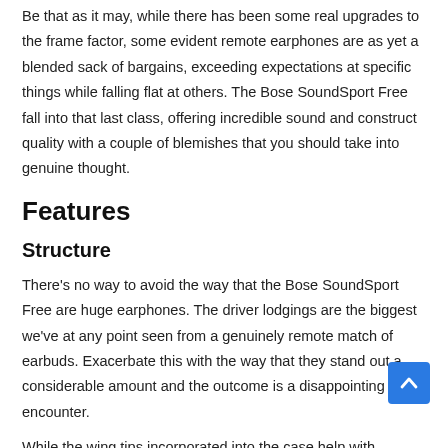Be that as it may, while there has been some real upgrades to the frame factor, some evident remote earphones are as yet a blended sack of bargains, exceeding expectations at specific things while falling flat at others. The Bose SoundSport Free fall into that last class, offering incredible sound and construct quality with a couple of blemishes that you should take into genuine thought.
Features
Structure
There's no way to avoid the way that the Bose SoundSport Free are huge earphones. The driver lodgings are the biggest we've at any point seen from a genuinely remote match of earbuds. Exacerbate this with the way that they stand out a considerable amount and the outcome is a disappointing client encounter.
While the wing tips incorporated into the case help with keeping the Bose SoundSport Free in your ears, they additionally sit further...